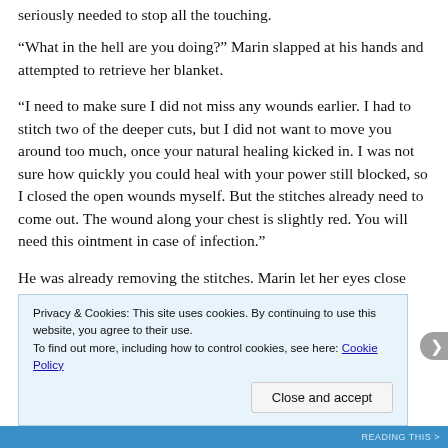seriously needed to stop all the touching.
“What in the hell are you doing?” Marin slapped at his hands and attempted to retrieve her blanket.
“I need to make sure I did not miss any wounds earlier. I had to stitch two of the deeper cuts, but I did not want to move you around too much, once your natural healing kicked in. I was not sure how quickly you could heal with your power still blocked, so I closed the open wounds myself. But the stitches already need to come out. The wound along your chest is slightly red. You will need this ointment in case of infection.”
He was already removing the stitches. Marin let her eyes close t... w...
Privacy & Cookies: This site uses cookies. By continuing to use this website, you agree to their use.
To find out more, including how to control cookies, see here: Cookie Policy
Close and accept